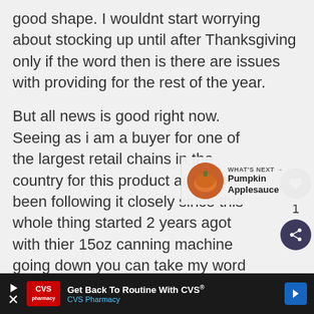good shape. I wouldnt start worrying about stocking up until after Thanksgiving only if the word then is there are issues with providing for the rest of the year.
But all news is good right now. Seeing as i am a buyer for one of the largest retail chains in the country for this product and have been following it closely since this whole thing started 2 years agot with thier 15oz canning machine going down you can take my word over any other here.
[Figure (other): What's Next panel showing a Pumpkin Applesauce thumbnail with circular food photo]
[Figure (other): CVS Pharmacy advertisement banner: 'Get Back To Routine With CVS® CVS Pharmacy']